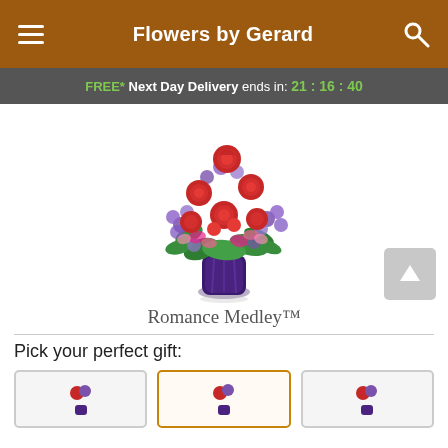Flowers by Gerard
FREE* Next Day Delivery ends in: 21:16:40
[Figure (photo): A bouquet of red roses and purple/pink flowers in a dark purple vase, on a white background. The arrangement is full and lush with green foliage.]
Romance Medley™
Pick your perfect gift:
[Figure (photo): Three small thumbnail images of flower arrangements for gift selection options, the middle one highlighted with an orange border.]